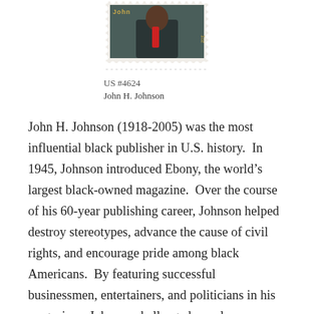[Figure (photo): A U.S. postage stamp (#4624) depicting John H. Johnson, showing his portrait against a dark background with the text 'John' visible and a perforated stamp border.]
US #4624
John H. Johnson
John H. Johnson (1918-2005) was the most influential black publisher in U.S. history. In 1945, Johnson introduced Ebony, the world’s largest black-owned magazine. Over the course of his 60-year publishing career, Johnson helped destroy stereotypes, advance the cause of civil rights, and encourage pride among black Americans. By featuring successful businessmen, entertainers, and politicians in his magazines, Johnson challenged popular misconceptions about his race.